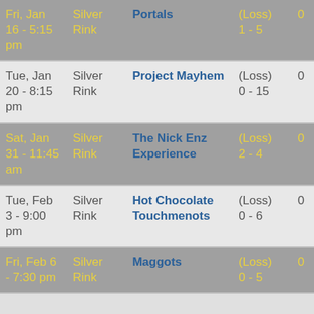| Date | Rink | Opponent | Result | Pts |
| --- | --- | --- | --- | --- |
| Fri, Jan 16 - 5:15 pm | Silver Rink | Portals | (Loss) 1 - 5 | 0 |
| Tue, Jan 20 - 8:15 pm | Silver Rink | Project Mayhem | (Loss) 0 - 15 | 0 |
| Sat, Jan 31 - 11:45 am | Silver Rink | The Nick Enz Experience | (Loss) 2 - 4 | 0 |
| Tue, Feb 3 - 9:00 pm | Silver Rink | Hot Chocolate Touchmenots | (Loss) 0 - 6 | 0 |
| Fri, Feb 6 - 7:30 pm | Silver Rink | Maggots | (Loss) 0 - 5 | 0 |